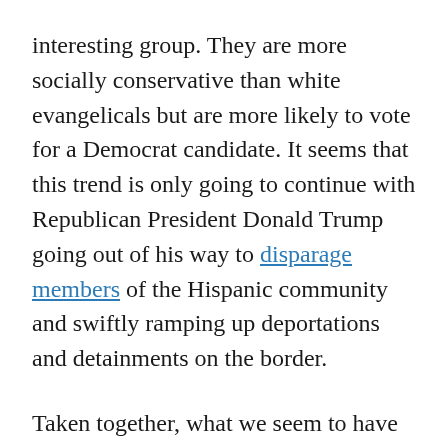interesting group. They are more socially conservative than white evangelicals but are more likely to vote for a Democrat candidate. It seems that this trend is only going to continue with Republican President Donald Trump going out of his way to disparage members of the Hispanic community and swiftly ramping up deportations and detainments on the border.
Taken together, what we seem to have is an evangelical community that is becoming ever so slightly more Democratic, as a whole. The impetus behind this shift however, is likely due more to the racial politics of the Republican